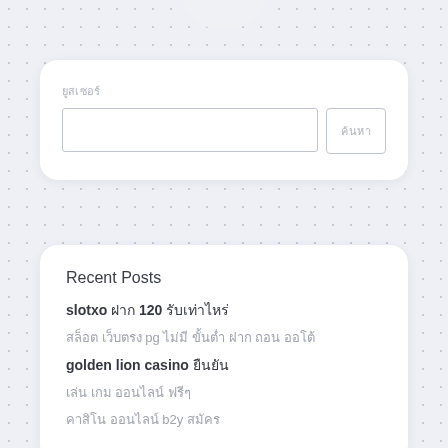[Figure (other): Half-circle shape at the top of the page, decorative UI element]
ยูสเซอร์
ค้นหา
Recent Posts
slotxo ฝาก 120 รับเท่าไหร่
สล็อต เว็บตรง pg ไม่มี ขั้นต่ำ ฝาก ถอน ออโต้
golden lion casino ยืนยัน
เล่น เกม ออนไลน์ ฟรีๆ
คาสิโน ออนไลน์ b2y สมัคร